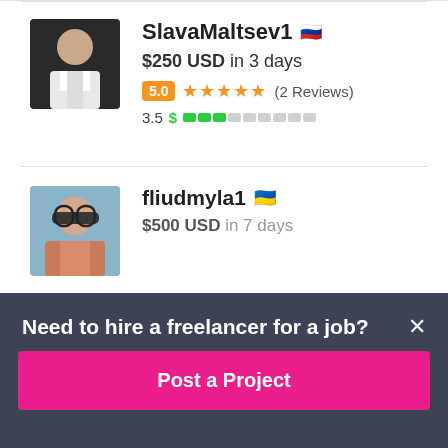[Figure (photo): Profile photo of SlavaMaltsev1, a young man in a white shirt]
SlavaMaltsev1 🇷🇺
$250 USD in 3 days
5.0 ★★★★★ (2 Reviews)
3.5 $ competency bars
[Figure (photo): Profile photo of fliudmyla1, a young woman with sunglasses]
fliudmyla1 🇺🇦
$500 USD in 7 days
Need to hire a freelancer for a job?
Post a Project